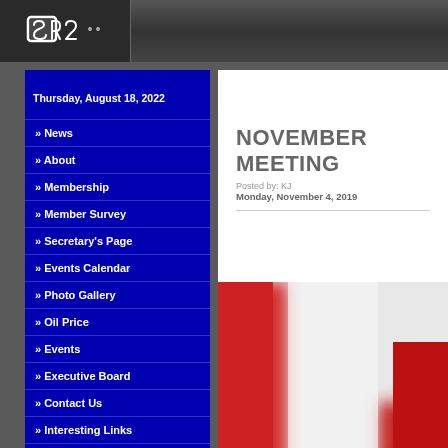[Figure (logo): SR2 logo in white on dark background]
Thursday, August 18, 2022
» News
» About
» Membership
» Member Survey
» Secretary's Page
» Events Calendar
» Photo Gallery
» Oil Price
» Events
» Executive Board
» Contact Us
» Interesting Links
» Sponsors
» Club History
NOVEMBER MEETING
Posted by: KJ
Monday, November 4, 2019
[Figure (photo): Blurred Canadian flag with red and white colors]